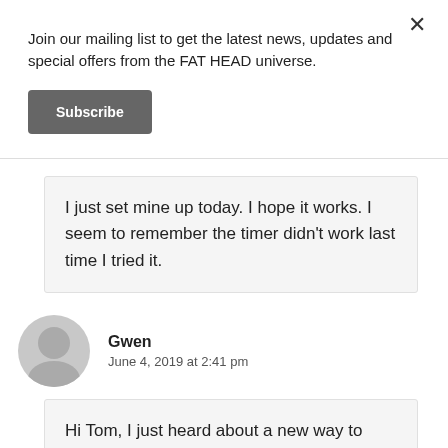Join our mailing list to get the latest news, updates and special offers from the FAT HEAD universe.
Subscribe
I just set mine up today. I hope it works. I seem to remember the timer didn’t work last time I tried it.
Gwen
June 4, 2019 at 2:41 pm
Hi Tom, I just heard about a new way to deter predators that you might like called pitoguard